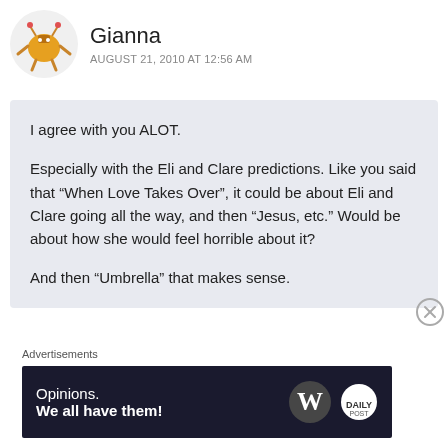Gianna
AUGUST 21, 2010 AT 12:56 AM
I agree with you ALOT.

Especially with the Eli and Clare predictions. Like you said that “When Love Takes Over”, it could be about Eli and Clare going all the way, and then “Jesus, etc.” Would be about how she would feel horrible about it?

And then “Umbrella” that makes sense.
Advertisements
[Figure (infographic): WordPress advertisement banner: 'Opinions. We all have them!' with WordPress logo and another logo on dark navy background]